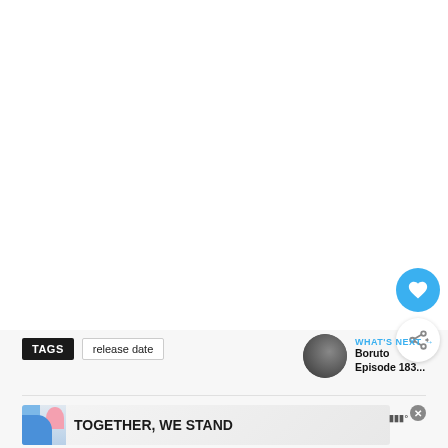[Figure (screenshot): Large white/light gray content area (video or article main body), blank/loading state]
[Figure (other): Blue circular heart/favorite button with white heart icon]
[Figure (other): White circular share button with share icon]
TAGS   release date
WHAT'S NEXT → Boruto Episode 183...
[Figure (other): Advertisement banner: TOGETHER, WE STAND with colorful shapes and close button]